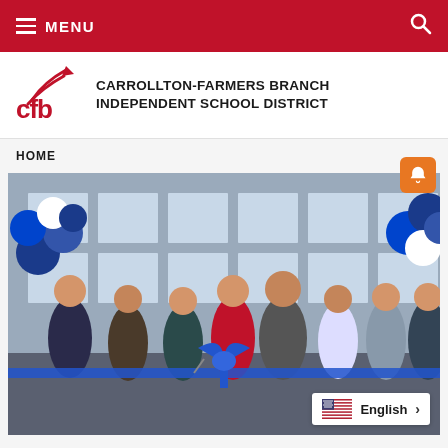≡ MENU
[Figure (logo): Carrollton-Farmers Branch ISD logo with CFB arrow graphic]
CARROLLTON-FARMERS BRANCH INDEPENDENT SCHOOL DISTRICT
HOME
[Figure (photo): Group of people at a ribbon cutting ceremony in front of a school building decorated with blue and white balloons]
English